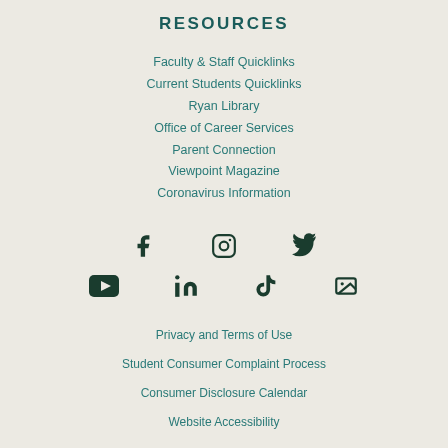RESOURCES
Faculty & Staff Quicklinks
Current Students Quicklinks
Ryan Library
Office of Career Services
Parent Connection
Viewpoint Magazine
Coronavirus Information
[Figure (other): Social media icons row 1: Facebook, Instagram, Twitter]
[Figure (other): Social media icons row 2: YouTube, LinkedIn, TikTok, Photos/Gallery]
Privacy and Terms of Use
Student Consumer Complaint Process
Consumer Disclosure Calendar
Website Accessibility